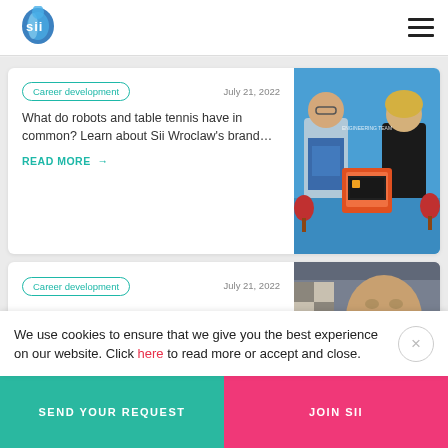[Figure (logo): Sii company logo - blue droplet/globe shape with 'sii' text]
Career development    July 21, 2022
What do robots and table tennis have in common? Learn about Sii Wroclaw's brand...
READ MORE →
[Figure (photo): Two people standing next to a 3D printer on a table tennis table holding ping pong paddles]
Career development    July 21, 2022
[Figure (photo): Close-up of an older smiling man, partial view]
We use cookies to ensure that we give you the best experience on our website. Click here to read more or accept and close.
SEND YOUR REQUEST
JOIN SII